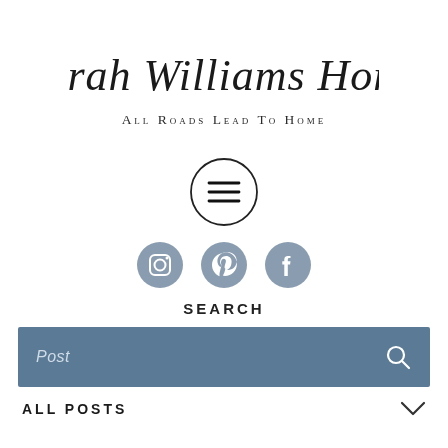[Figure (logo): Sarah Williams Home script logo with tagline 'All Roads Lead To Home']
[Figure (other): Hamburger menu icon inside a circle]
[Figure (other): Social media icons: Instagram, Pinterest, Facebook]
SEARCH
Post
ALL POSTS